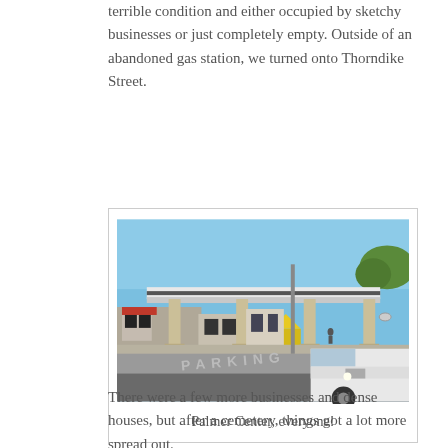terrible condition and either occupied by sketchy businesses or just completely empty. Outside of an abandoned gas station, we turned onto Thorndike Street.
[Figure (photo): Photograph of an abandoned gas station canopy structure with columns, a white truck in the foreground right, and storefronts visible in the background. Street pavement with parking markings visible. Clear blue sky.]
Palmer Center, everyone!
There were a few more businesses and dense houses, but after a cemetery, things got a lot more spread out.